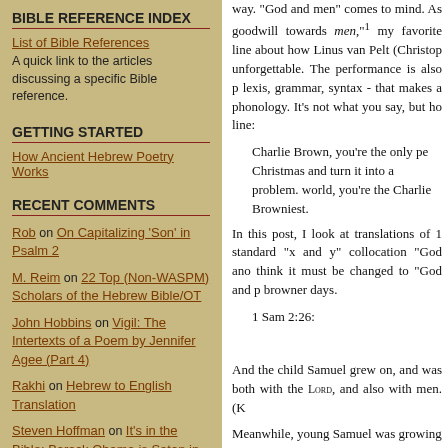BIBLE REFERENCE INDEX
List of Bible References - A quick link to the articles discussing a specific Bible reference.
GETTING STARTED
How Ancient Hebrew Poetry Works
RECENT COMMENTS
Rob on On Capitalizing 'Son' in Psalm 2
M. Reim on 22 Top (Non-WASPM) Scholars of the Hebrew Bible/OT
John Hobbins on Vigil: The Intertexts of a Poem by Jennifer Agee (Part 4)
Rakhi on Hebrew to English Translation
Steven Hoffman on It's in the Bible: Barack Obama is Satan in disguise
Steven Hoffman on Selah in the Psalms
Theresa Evans on Sexy yet Spiritual,
way. "God and men" comes to mind. As goodwill towards men,¹ my favorite line about how Linus van Pelt (Christop unforgettable. The performance is also p lexis, grammar, syntax - that makes a phonology. It's not what you say, but ho line:
Charlie Brown, you're the only pe Christmas and turn it into a problem. world, you're the Charlie Browniest.
In this post, I look at translations of 1 standard “x and y” collocation “God ano think it must be changed to “God and p browner days.
1 Sam 2:26:
And the child Samuel grew on, and was both with the Lord, and also with men. (K
Meanwhile, young Samuel was growing